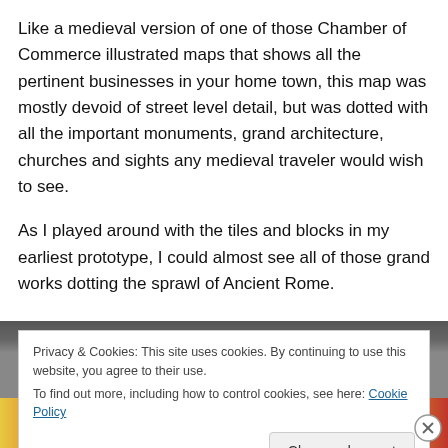Like a medieval version of one of those Chamber of Commerce illustrated maps that shows all the pertinent businesses in your home town, this map was mostly devoid of street level detail, but was dotted with all the important monuments, grand architecture, churches and sights any medieval traveler would wish to see.
As I played around with the tiles and blocks in my earliest prototype, I could almost see all of those grand works dotting the sprawl of Ancient Rome.
[Figure (photo): Partial view of a colorful image with toy blocks visible at the bottom, overlaid by a cookie consent banner.]
Privacy & Cookies: This site uses cookies. By continuing to use this website, you agree to their use.
To find out more, including how to control cookies, see here: Cookie Policy